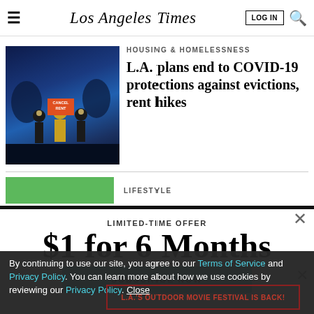Los Angeles Times — LOG IN [search icon]
[Figure (photo): Nighttime protest scene with people wearing masks holding candles and a 'CANCEL RENT' sign, dark blue background]
HOUSING & HOMELESSNESS
L.A. plans end to COVID-19 protections against evictions, rent hikes
LIFESTYLE
LIMITED-TIME OFFER
$1 for 6 Months
SUBSCRIBE NOW
By continuing to use our site, you agree to our Terms of Service and Privacy Policy. You can learn more about how we use cookies by reviewing our Privacy Policy. Close
L.A.'S OUTDOOR MOVIE FESTIVAL IS BACK!